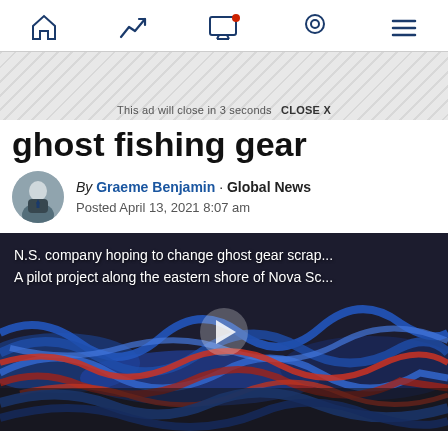Navigation bar with icons: home, trending, live/notifications, location, menu
[Figure (screenshot): Ad banner with diagonal stripe pattern and text: This ad will close in 3 seconds  CLOSE X]
ghost fishing gear
By Graeme Benjamin · Global News
Posted April 13, 2021 8:07 am
[Figure (photo): Video thumbnail showing tangled blue and red fishing ropes/gear with overlay text: N.S. company hoping to change ghost gear scrap... A pilot project along the eastern shore of Nova Sc... with a play button in the center]